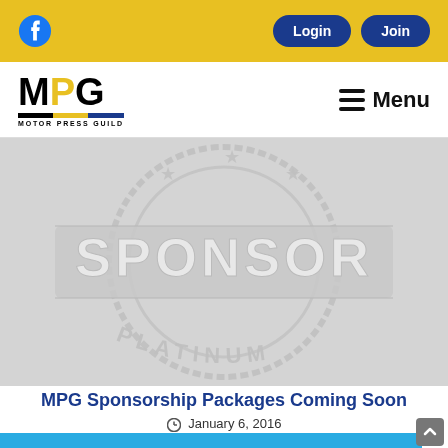Motor Press Guild website header with Facebook icon, Login and Join buttons, MPG logo, and Menu
[Figure (illustration): Sponsor platinum stamp/seal watermark image in light gray on gray background]
MPG Sponsorship Packages Coming Soon
January 6, 2016
[Figure (illustration): Bottom blue strip with partial image below]